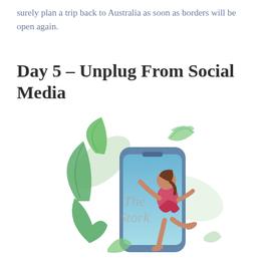surely plan a trip back to Australia as soon as borders will be open again.
Day 5 – Unplug From Social Media
[Figure (illustration): Illustration of a woman running out of or away from a large smartphone screen surrounded by tropical green leaves and plants, with a watermark reading 'The Stork' overlaid in the center.]